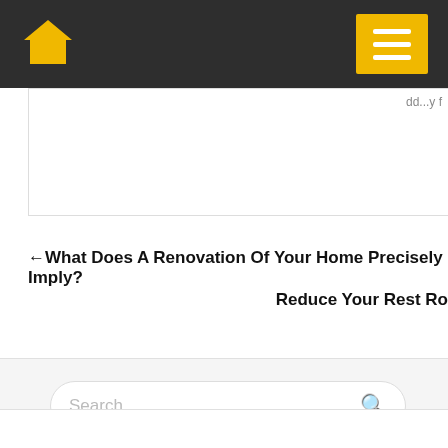Home | Menu
←What Does A Renovation Of Your Home Precisely Imply?
Reduce Your Rest Ro
[Figure (screenshot): Search bar with placeholder text 'Search ...' and a magnifying glass icon]